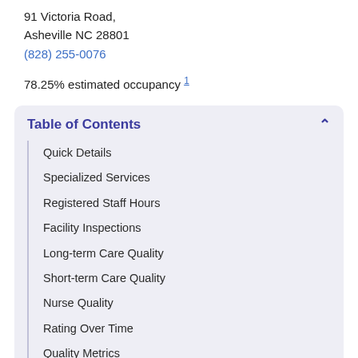91 Victoria Road,
Asheville NC 28801
(828) 255-0076
78.25% estimated occupancy 1
Table of Contents
Quick Details
Specialized Services
Registered Staff Hours
Facility Inspections
Long-term Care Quality
Short-term Care Quality
Nurse Quality
Rating Over Time
Quality Metrics